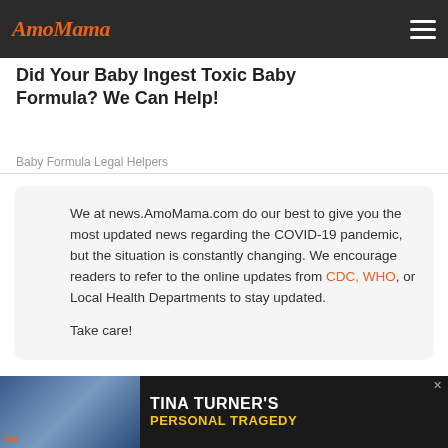AmoMama
Did Your Baby Ingest Toxic Baby Formula? We Can Help!
Baby Formula Legal Helpers
We at news.AmoMama.com do our best to give you the most updated news regarding the COVID-19 pandemic, but the situation is constantly changing. We encourage readers to refer to the online updates from CDC, WHO, or Local Health Departments to stay updated.

Take care!
[Figure (photo): Advertisement banner featuring Tina Turner with text TINA TURNER'S PERSONAL TRAGEDY on dark background]